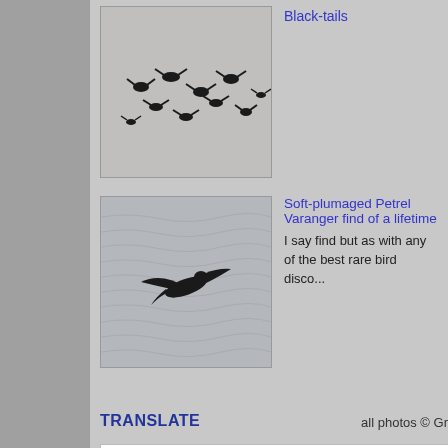Black-tails
[Figure (photo): Flock of black birds (black-tails) in flight over water, silhouetted]
Soft-plumaged Petrel Varanger find of a lifetime
I say find but as with any of the best rare bird disco...
[Figure (photo): Bird (Soft-plumaged Petrel) in flight over water]
TRANSLATE
Select Language
Powered by Google Translate
all photos © Gr